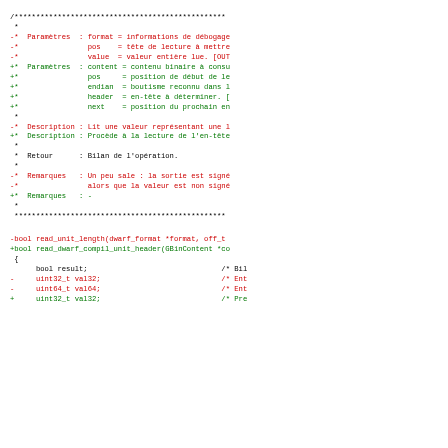Code diff showing changes to function parameters and description (read_unit_length to read_dwarf_compil_unit_header)